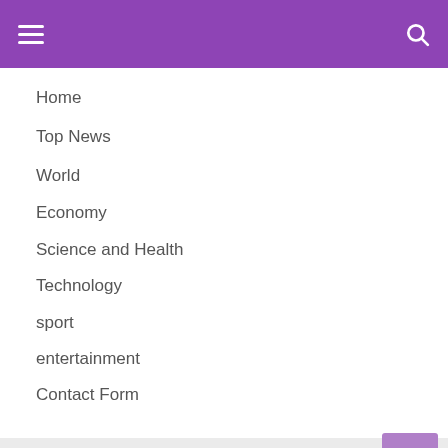Navigation header with hamburger menu and search icon
Home
Top News
World
Economy
Science and Health
Technology
sport
entertainment
Contact Form
Pages
About Us
DMCA
Contact Form